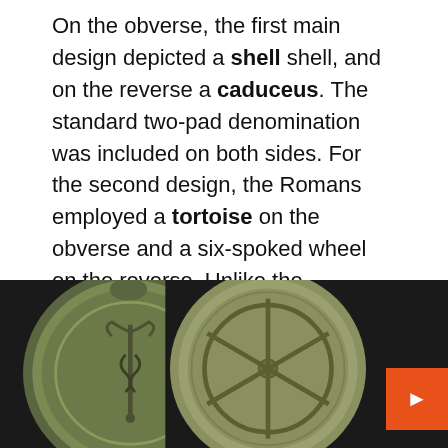On the obverse, the first main design depicted a shell shell, and on the reverse a caduceus. The standard two-pad denomination was included on both sides. For the second design, the Romans employed a tortoise on the obverse and a six-spoked wheel on the reverse. Unlike the Romans, the other Italian city-states used many different designs for the Sextans. After the introduction of the bow type, the obverse was moved to a bust of Mercury facing left with the denomination below the bust.
[Figure (photo): Two ancient Roman bronze coins (Sextans). Left coin shows obverse with a caduceus design. Right coin shows reverse with a six-spoked wheel design. Both coins are round, dark greenish-bronze, on a dark background.]